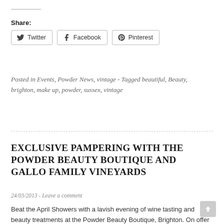Share:
[Figure (other): Share buttons for Twitter, Facebook, and Pinterest]
Posted in Events, Powder News, vintage - Tagged beautiful, Beauty, brighton, make up, powder, sussex, vintage
EXCLUSIVE PAMPERING WITH THE POWDER BEAUTY BOUTIQUE AND GALLO FAMILY VINEYARDS
24/03/2013 - Leave a comment
Beat the April Showers with a lavish evening of wine tasting and beauty treatments at the Powder Beauty Boutique, Brighton. On offer will be a whopping 40% discount on popular treatments